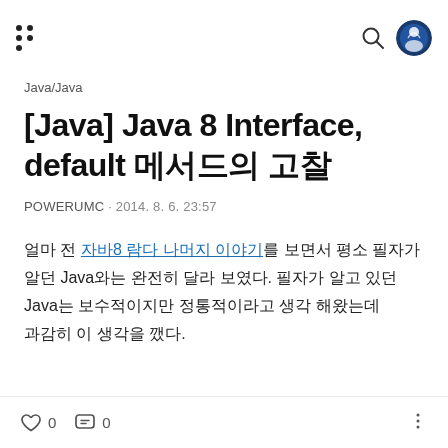[Navigation header with logo, search, and profile icons]
Java/Java
[Java] Java 8 Interface, default 메서드의 고찰
POWERUMC · 2014. 8. 6. 23:57
얼마 전 자바8 람다 나머지 이야기를 보면서 평소 필자가 알던 Java와는 완전히 달라 보였다. 필자가 알고 있던 Java는 보수적이지만 정통적이라고 생각 해왔는데 과감히 이 생각을 깼다.
♡ 0   💬 0